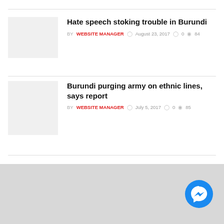Hate speech stoking trouble in Burundi — BY WEBSITE MANAGER — August 23, 2017 — 0 comments — 84 views
Burundi purging army on ethnic lines, says report — BY WEBSITE MANAGER — July 5, 2017 — 0 comments — 85 views
< 1 ... 7 8
[Figure (other): Facebook Messenger chat button, blue circle with white lightning bolt icon]